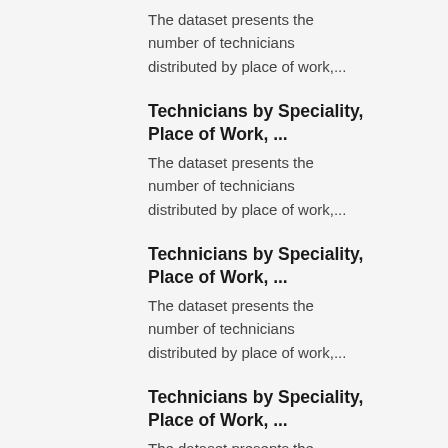The dataset presents the number of technicians distributed by place of work,...
Technicians by Speciality, Place of Work, ...
The dataset presents the number of technicians distributed by place of work,...
Technicians by Speciality, Place of Work, ...
The dataset presents the number of technicians distributed by place of work,...
Technicians by Speciality, Place of Work, ...
The dataset presents the number of technicians distributed by place of work,...